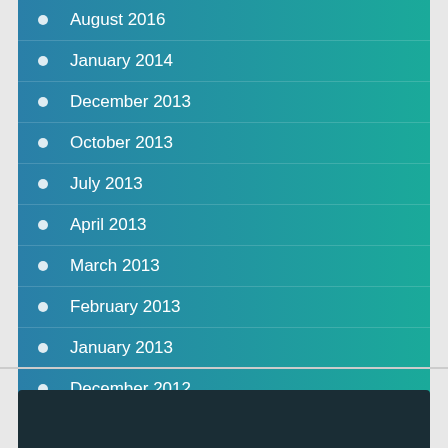August 2016
January 2014
December 2013
October 2013
July 2013
April 2013
March 2013
February 2013
January 2013
December 2012